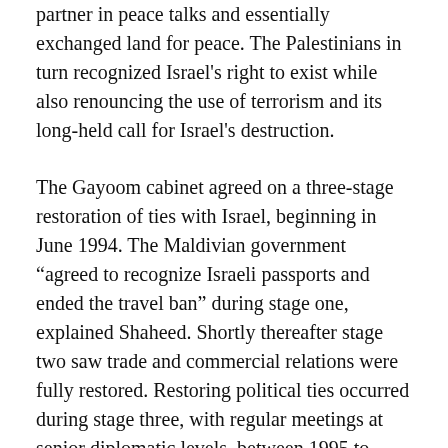partner in peace talks and essentially exchanged land for peace. The Palestinians in turn recognized Israel's right to exist while also renouncing the use of terrorism and its long-held call for Israel's destruction.
The Gayoom cabinet agreed on a three-stage restoration of ties with Israel, beginning in June 1994. The Maldivian government “agreed to recognize Israeli passports and ended the travel ban” during stage one, explained Shaheed. Shortly thereafter stage two saw trade and commercial relations were fully restored. Restoring political ties occurred during stage three, with regular meetings at senior diplomatic levels, between 1995 to 2008.
“So what President Nasheed said at the UN – and that was my formulation – was that Maldives wanted friendly relations with all states in the General...